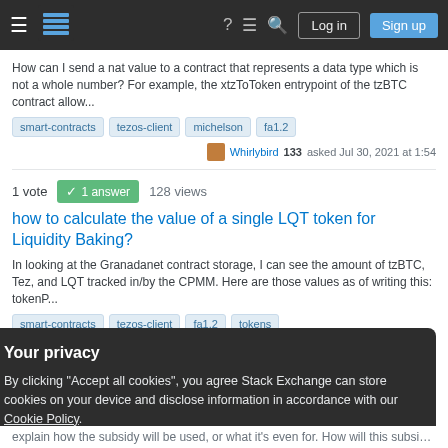Stack Exchange navigation bar with Log in and Sign up buttons
How can I send a nat value to a contract that represents a data type which is not a whole number? For example, the xtzToToken entrypoint of the tzBTC contract allow...
smart-contracts
tezos-client
michelson
fa1.2
Whirlybird 133 asked Jul 30, 2021 at 1:54
1 vote  ✓ 1 answer  128 views
how to calculate the value of a single LQT token for Liquidity Baking?
In looking at the Granadanet contract storage, I can see the amount of tzBTC, Tez, and LQT tracked in/by the CPMM. Here are those values as of writing this: tokenP...
smart-contracts
tezos-client
fa1.2
tokens
Your privacy
By clicking "Accept all cookies", you agree Stack Exchange can store cookies on your device and disclose information in accordance with our Cookie Policy.
Accept all cookies
Customize settings
explain how the subsidy will be used, or what it's even for. How will this subsidy be...